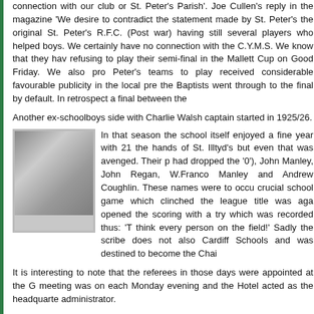connection with our club or St. Peter's Parish'. Joe Cullen's reply in the magazine 'We desire to contradict the statement made by St. Peter's the original St. Peter's R.F.C. (Post war) having still several players who helped boys. We certainly have no connection with the C.Y.M.S. We know that they have refusing to play their semi-final in the Mallett Cup on Good Friday. We also pro Peter's teams to play received considerable favourable publicity in the local pre the Baptists went through to the final by default. In retrospect a final between the
Another ex-schoolboys side with Charlie Walsh captain started in 1925/26.
[Figure (photo): Black and white team photograph of a rugby group]
In that season the school itself enjoyed a fine year with 21 the hands of St. Illtyd's but even that was avenged. Their p had dropped the '0'), John Manley, John Regan, W.Franco Manley and Andrew Coughlin. These names were to occu crucial school game which clinched the league title was aga opened the scoring with a try which was recorded thus: 'T think every person on the field!' Sadly the scribe does not also Cardiff Schools and was destined to become the Chai
It is interesting to note that the referees in those days were appointed at the G meeting was on each Monday evening and the Hotel acted as the headquarte administrator.
The 1926/27 season opened with a strange note in the Parish Magazine from J given to the school concerning the team turning over to the Northern Union code to be granted to the school for equipment, etc. was never made except in jest. gentleman speaking knew that unless it could be done by all schools in the Unio sportsmaster must have brought a few of the old officials near to heart attacks! T the second year in succession.
[Figure (photo): Black and white team photograph of a rugby group from 1926/27]
The C.Y.M.S. side of 1926/27 was 'but a shadow of the hig final of the Mallett Cup where they lost to Canton.